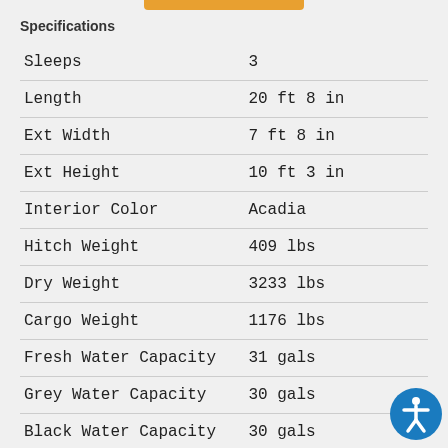Specifications
| Specification | Value |
| --- | --- |
| Sleeps | 3 |
| Length | 20 ft 8 in |
| Ext Width | 7 ft 8 in |
| Ext Height | 10 ft 3 in |
| Interior Color | Acadia |
| Hitch Weight | 409 lbs |
| Dry Weight | 3233 lbs |
| Cargo Weight | 1176 lbs |
| Fresh Water Capacity | 31 gals |
| Grey Water Capacity | 30 gals |
| Black Water Capacity | 30 gals |
| Tire Size | 15" |
| Furnace BTU | 30000 b... |